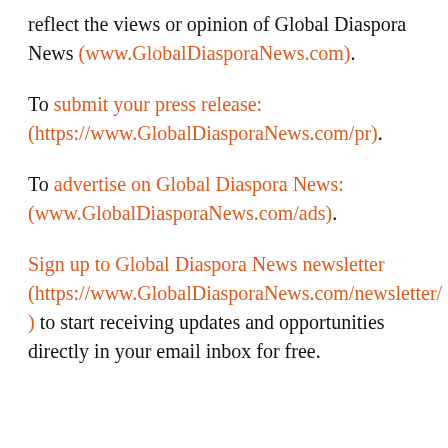reflect the views or opinion of Global Diaspora News (www.GlobalDiasporaNews.com).
To submit your press release: (https://www.GlobalDiasporaNews.com/pr).
To advertise on Global Diaspora News: (www.GlobalDiasporaNews.com/ads).
Sign up to Global Diaspora News newsletter (https://www.GlobalDiasporaNews.com/newsletter/ ) to start receiving updates and opportunities directly in your email inbox for free.